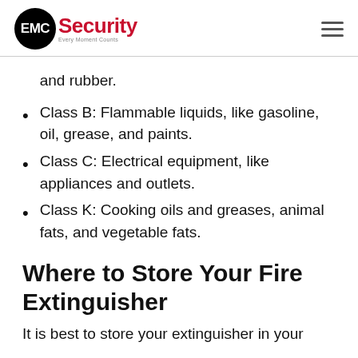EMC Security — Every Moment Counts
and rubber.
Class B: Flammable liquids, like gasoline, oil, grease, and paints.
Class C: Electrical equipment, like appliances and outlets.
Class K: Cooking oils and greases, animal fats, and vegetable fats.
Where to Store Your Fire Extinguisher
It is best to store your extinguisher in your